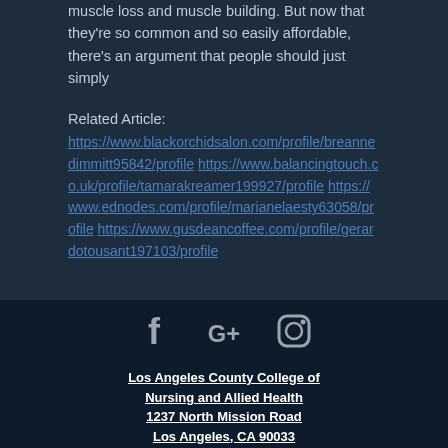muscle loss and muscle building. But now that they're so common and so easily affordable, there's an argument that people should just simply
Related Article:
https://www.blackorchidsalon.com/profile/breannedimmitt95842/profile
https://www.balancingtouch.co.uk/profile/tamarakreamer199927/profile
https://www.ednodes.com/profile/marianelaesty63058/profile
https://www.gusdeancoffee.com/profile/gerardotousant197103/profile
[Figure (illustration): Three social media icons: Facebook (f), Google Plus (G+), and Instagram (camera icon), displayed in gray/silver on dark navy background]
Los Angeles County College of Nursing and Allied Health
1237 North Mission Road
Los Angeles, CA 90033